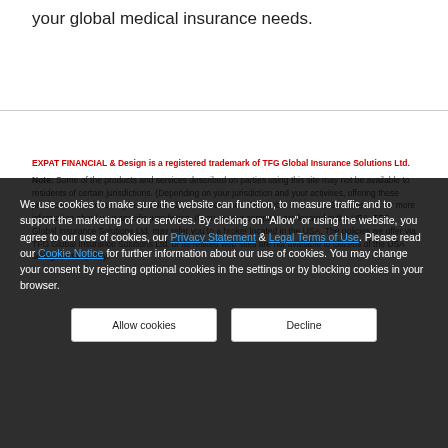your global medical insurance needs.
EXPAT FINANCIAL & Design is a registered trademark of TFG Global Insurance Solutions Ltd.
Note: Some of the products and services described on parties using this site may not be available to residents of certain jurisdictions. (Depending on your jurisdiction and your activities, offering these products or services may be prohibited). Please contact TFG Global Insurance Solutions Ltd. for more information about your specific jurisdiction. If you or your company are located in the USA, TFG Global Insurance Solutions Ltd. may refer you to a broker located in the USA. The policies we offer via TFG Global Insurance Solutions Ltd. or its related web sites are not available to citizens of the USA taking out the policy.
We use cookies to make sure the website can function, to measure traffic and to support the marketing of our services. By clicking on "Allow" or using the website, you agree to our use of cookies, our Privacy Statement & Legal Terms of Use. Please read our Cookie Notice for further information about our use of cookies. You may change your consent by rejecting optional cookies in the settings or by blocking cookies in your browser.
Allow cookies
Decline